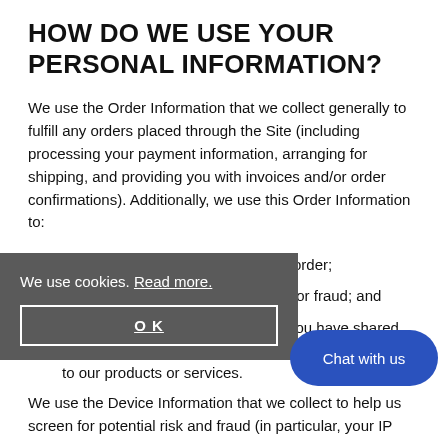HOW DO WE USE YOUR PERSONAL INFORMATION?
We use the Order Information that we collect generally to fulfill any orders placed through the Site (including processing your payment information, arranging for shipping, and providing you with invoices and/or order confirmations). Additionally, we use this Order Information to:
Communicate with you about your order;
Screen our orders for potential risk or fraud; and
When in line with the preferences you have shared, we provide you with information or advertising relating to our products or services.
We use the Device Information that we collect to help us screen for potential risk and fraud (in particular, your IP